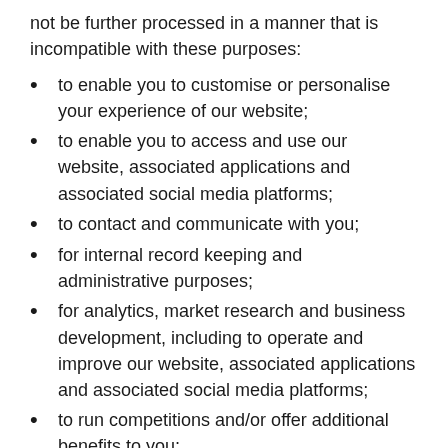not be further processed in a manner that is incompatible with these purposes:
to enable you to customise or personalise your experience of our website;
to enable you to access and use our website, associated applications and associated social media platforms;
to contact and communicate with you;
for internal record keeping and administrative purposes;
for analytics, market research and business development, including to operate and improve our website, associated applications and associated social media platforms;
to run competitions and/or offer additional benefits to you;
for advertising and marketing, including to send you